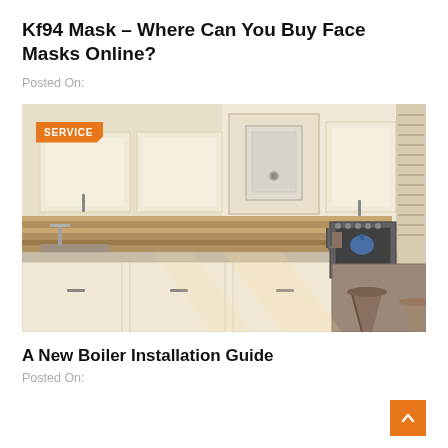Kf94 Mask – Where Can You Buy Face Masks Online?
Posted On:
[Figure (photo): Kitchen interior with cream cabinets, wooden backsplash, boiler mounted between cabinets, stainless steel oven, bar stools and countertop island. Orange SERVICE badge in top-left corner.]
A New Boiler Installation Guide
Posted On: